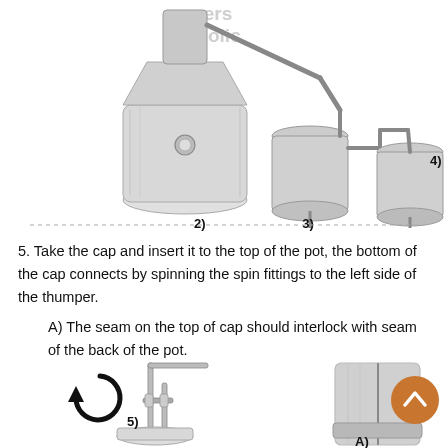[Figure (illustration): Distillation apparatus diagram showing a pot still (labeled 2), a thumper keg (labeled 3), a collection vessel (labeled 4), with connecting tubes and fittings. Partial watermark text 'ers Polic' visible at top.]
5. Take the cap and insert it to the top of the pot, the bottom of the cap connects by spinning the spin fittings to the left side of the thumper.
A) The seam on the top of cap should interlock with seam of the back of the pot.
[Figure (illustration): Lower illustrations: Left shows fitting/connector parts with label 5) and a rotation arrow symbol; Right shows a metal cap/collar being inserted with a right-pointing arrow and label A). An orange circular back-to-top button is overlaid at right.]